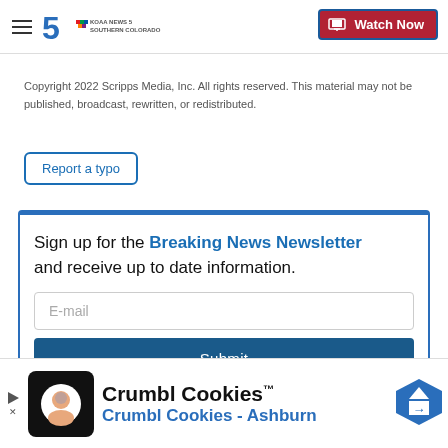KOAA News 5 Southern Colorado — Watch Now
Copyright 2022 Scripps Media, Inc. All rights reserved. This material may not be published, broadcast, rewritten, or redistributed.
Report a typo
Sign up for the Breaking News Newsletter and receive up to date information.
Crumbl Cookies™
Crumbl Cookies - Ashburn